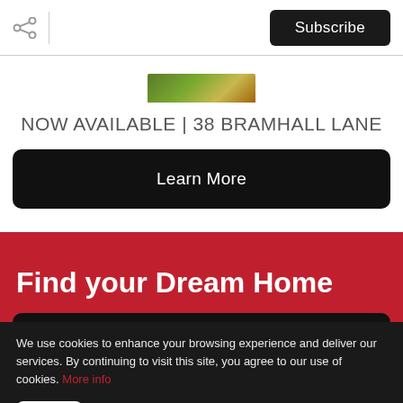[Figure (screenshot): Share icon (network share symbol) in the top-left of the page header bar]
Subscribe
[Figure (photo): Partial image of trees/greenery at the top of the page]
NOW AVAILABLE | 38 BRAMHALL LANE
Learn More
Find your Dream Home
We use cookies to enhance your browsing experience and deliver our services. By continuing to visit this site, you agree to our use of cookies. More info
OK